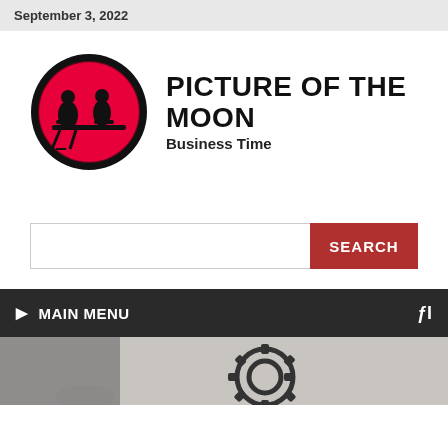September 3, 2022
[Figure (logo): Picture of the Moon logo: circular red and black logo with two silhouetted figures at a desk, next to bold text 'PICTURE OF THE MOON' and subtitle 'Business Time']
SEARCH (search bar and button)
MAIN MENU
[Figure (photo): Partial photo showing mechanical gears and a hand, blurred/partial at bottom of page]